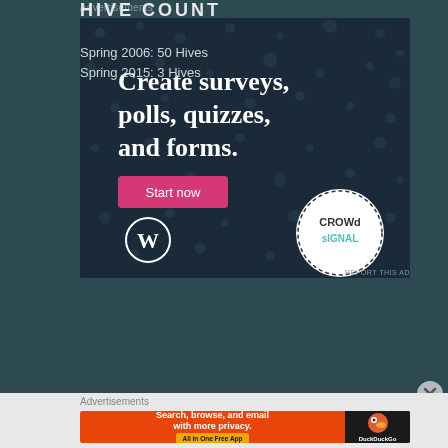Advertisements
[Figure (illustration): Crowdsignal advertisement banner on dark navy background with polka dots. Text reads 'Create surveys, polls, quizzes, and forms.' with a pink 'Start now' button, WordPress logo bottom left, and Crowdsignal circular badge bottom right.]
HIVE COUNT
Spring 2006: 50 Hives
Spring 2015: 3 Hives
Advertisements
[Figure (illustration): DuckDuckGo advertisement banner. Orange left section reads 'Search, browse, and email with more privacy. All in One Free App'. Dark right section shows DuckDuckGo duck logo and text 'DuckDuckGo'.]